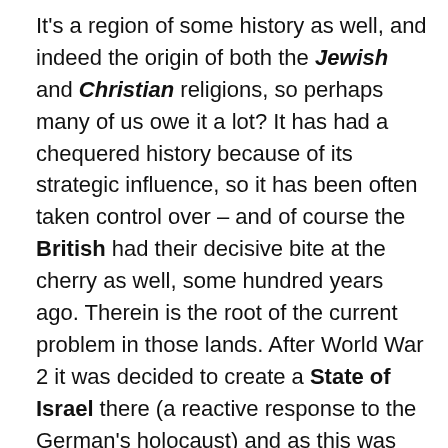It's a region of some history as well, and indeed the origin of both the Jewish and Christian religions, so perhaps many of us owe it a lot? It has had a chequered history because of its strategic influence, so it has been often taken control over – and of course the British had their decisive bite at the cherry as well, some hundred years ago. Therein is the root of the current problem in those lands. After World War 2 it was decided to create a State of Israel there (a reactive response to the German's holocaust) and as this was not accepted by the local Arabs this led to civil war – which enabled Israel to capture substantially more land than granted them. Some three quarters of a million Palestinians were displaced.
A further war, known as the Six-Day War, nearly some fifty years ago now, allowed the Israelis to capture even more other significant local regions – the Sinai, the Gaza Strip